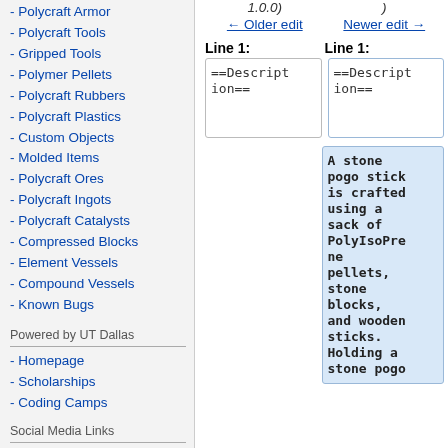- Polycraft Armor
- Polycraft Tools
- Gripped Tools
- Polymer Pellets
- Polycraft Rubbers
- Polycraft Plastics
- Custom Objects
- Molded Items
- Polycraft Ores
- Polycraft Ingots
- Polycraft Catalysts
- Compressed Blocks
- Element Vessels
- Compound Vessels
- Known Bugs
Powered by UT Dallas
- Homepage
- Scholarships
- Coding Camps
Social Media Links
1.0.0)
)
← Older edit
Newer edit →
Line 1:
Line 1:
==Description==
==Description==
A stone pogo stick is crafted using a sack of PolyIsoPrene pellets, stone blocks, and wooden sticks. Holding a stone pogo